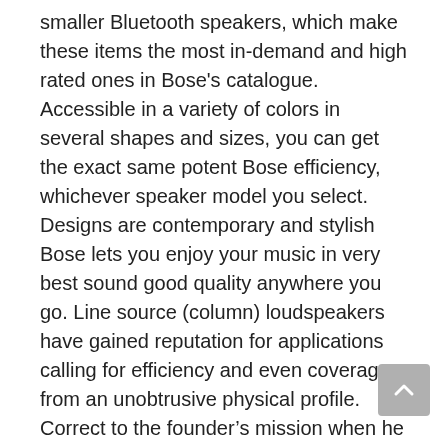smaller Bluetooth speakers, which make these items the most in-demand and high rated ones in Bose's catalogue. Accessible in a variety of colors in several shapes and sizes, you can get the exact same potent Bose efficiency, whichever speaker model you select. Designs are contemporary and stylish Bose lets you enjoy your music in very best sound good quality anywhere you go. Line source (column) loudspeakers have gained reputation for applications calling for efficiency and even coverage from an unobtrusive physical profile. Correct to the founder's mission when he initial started, Cerwin-Vega speakers are still fairly priced to this day. Most importantly, audio speaker items from this brand create unparalleled higher quality sound that will surely not disappoint. With the support of the Soundcore app, the sound can be individually adjusted via the equalizer. The in-house BassUp technology guarantees that the bass gains strength at the push of a button. This is exactly where the strengths